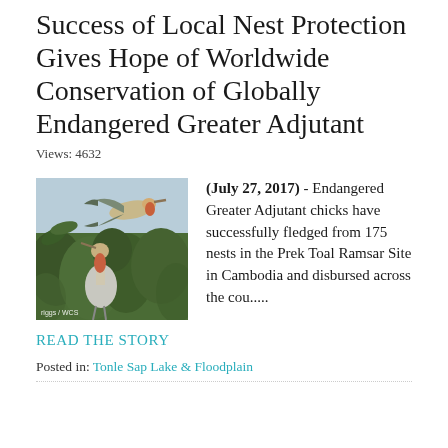Success of Local Nest Protection Gives Hope of Worldwide Conservation of Globally Endangered Greater Adjutant
Views: 4632
[Figure (photo): A Greater Adjutant stork bird in flight above trees/vegetation, with another bird visible below. Photo credit: riggs / WCS]
(July 27, 2017) - Endangered Greater Adjutant chicks have successfully fledged from 175 nests in the Prek Toal Ramsar Site in Cambodia and disbursed across the cou.....
READ THE STORY
Posted in: Tonle Sap Lake & Floodplain